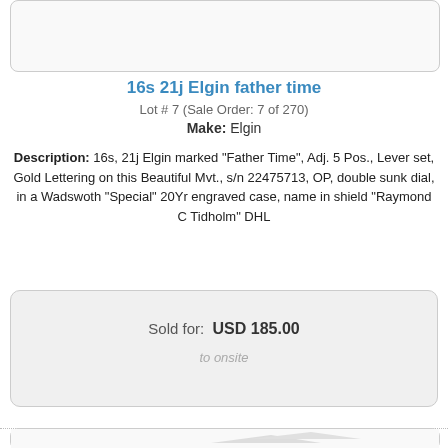[Figure (photo): Top image placeholder box, light gray with rounded border]
16s 21j Elgin father time
Lot # 7 (Sale Order: 7 of 270)
Make: Elgin
Description: 16s, 21j Elgin marked "Father Time", Adj. 5 Pos., Lever set, Gold Lettering on this Beautiful Mvt., s/n 22475713, OP, double sunk dial, in a Wadswoth "Special" 20Yr engraved case, name in shield "Raymond C Tidholm" DHL
Sold for: USD 185.00
to onsite
[Figure (photo): Bottom image placeholder box, light gray with rounded border, partially visible]